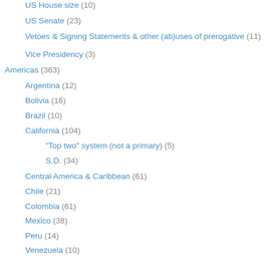US House size (10)
US Senate (23)
Vetoes & Signing Statements & other (ab)uses of prerogative (11)
Vice Presidency (3)
Americas (363)
Argentina (12)
Bolivia (16)
Brazil (10)
California (104)
"Top two" system (not a primary) (5)
S.D. (34)
Central America & Caribbean (61)
Chile (21)
Colombia (61)
Mexico (38)
Peru (14)
Venezuela (10)
Asia (Central & South/S.W.) (273)
Afghanistan (12)
Bangladesh (8)